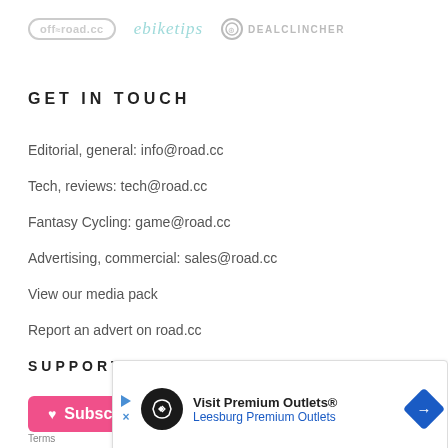off-road.cc  ebiketips  DEALCLINCHER
GET IN TOUCH
Editorial, general: info@road.cc
Tech, reviews: tech@road.cc
Fantasy Cycling: game@road.cc
Advertising, commercial: sales@road.cc
View our media pack
Report an advert on road.cc
SUPPORT US
Subscribe
[Figure (screenshot): Advertisement banner for Visit Premium Outlets® - Leesburg Premium Outlets]
All ma... BA11... Terms